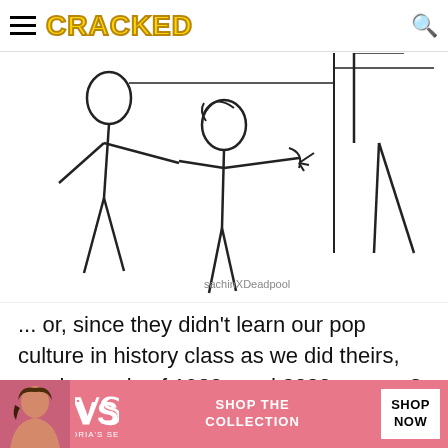CRACKED
[Figure (illustration): Line drawing illustration of two figures: a taller person on the left and a shorter person reaching out with one hand, credited to sachinXDeadpool]
... or, since they didn't learn our pop culture in history class as we did theirs, maybe a mix of 1920s and 2020 memes?
[Figure (other): Bottom navigation buttons partially visible]
[Figure (other): Victoria's Secret advertisement banner: SHOP THE COLLECTION, SHOP NOW]